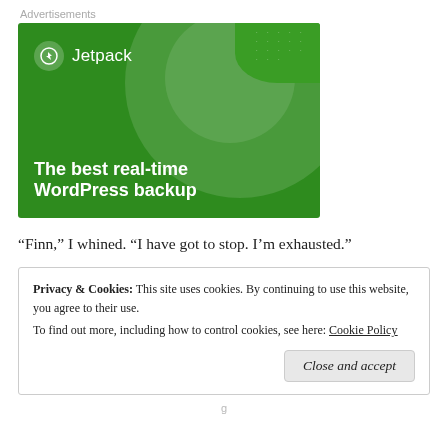Advertisements
[Figure (illustration): Jetpack advertisement with green background showing a circle graphic and the text 'The best real-time WordPress backup']
“Finn,” I whined. “I have got to stop. I’m exhausted.”
Privacy & Cookies: This site uses cookies. By continuing to use this website, you agree to their use.
To find out more, including how to control cookies, see here: Cookie Policy
Close and accept